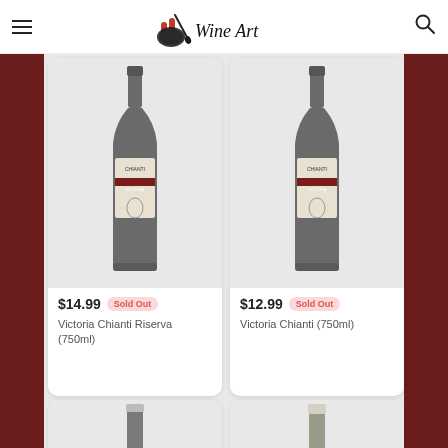Wine Art — navigation header with hamburger menu and search icon
[Figure (photo): Victoria Chianti Riserva wine bottle (750ml), dark glass bottle with label showing angel figure]
$14.99  Sold Out
Victoria Chianti Riserva (750ml)
[Figure (photo): Victoria Chianti wine bottle (750ml), dark glass bottle with label showing angel figure]
$12.99  Sold Out
Victoria Chianti (750ml)
[Figure (photo): Wine bottle (bottom row left), partial view showing neck and top]
[Figure (photo): Wine bottle (bottom row right), partial view showing neck and top]